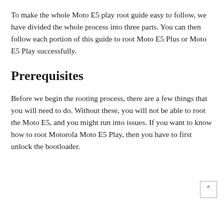To make the whole Moto E5 play root guide easy to follow, we have divided the whole process into three parts. You can then follow each portion of this guide to root Moto E5 Plus or Moto E5 Play successfully.
Prerequisites
Before we begin the rooting process, there are a few things that you will need to do. Without these, you will not be able to root the Moto E5, and you might run into issues. If you want to know how to root Motorola Moto E5 Play, then you have to first unlock the bootloader.